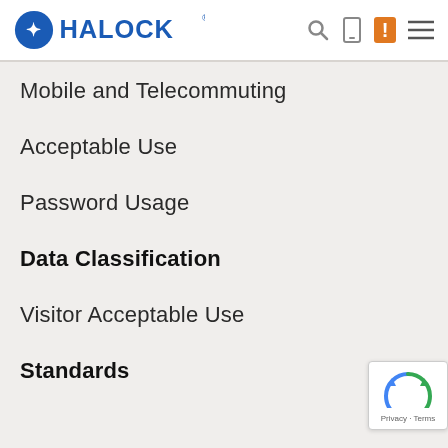HALOCK
Mobile and Telecommuting
Acceptable Use
Password Usage
Data Classification
Visitor Acceptable Use
Standards